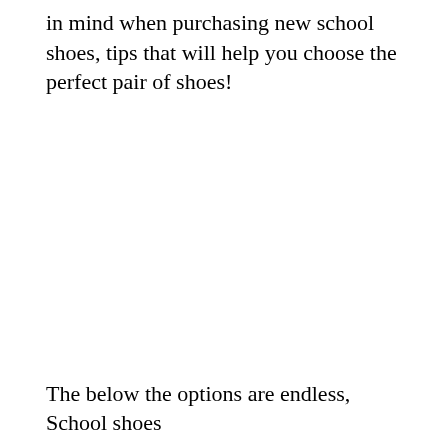in mind when purchasing new school shoes, tips that will help you choose the perfect pair of shoes!
The below the options are endless, School shoes